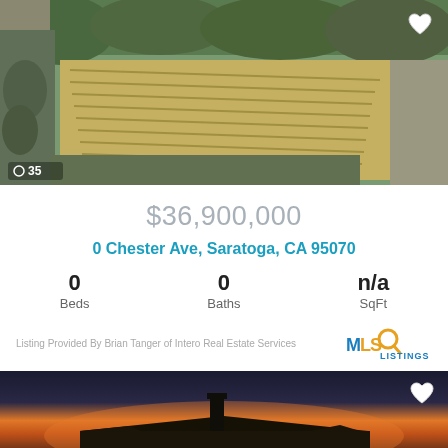[Figure (photo): Aerial view of agricultural land with rows of crops/vines surrounded by trees, roads visible on edges, mountainous tree line in background]
$36,900,000
0 Chester Ave, Saratoga, CA 95070
0 Beds
0 Baths
n/a SqFt
Listing Provided By Brian Tanger of Intero Real Estate Services
[Figure (logo): MLS Listings logo with magnifying glass icon in yellow/orange and blue text]
[Figure (photo): Sunset photo showing rooftop silhouette with chimney against orange and dark blue sky]